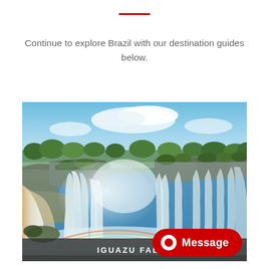Continue to explore Brazil with our destination guides below.
[Figure (photo): Aerial/wide-angle view of Iguazu Falls with multiple cascades of water, mist rising, lush green vegetation on rocky cliffs, a rainbow visible at the base, under a bright blue sky with clouds.]
IGUAZU FALLS